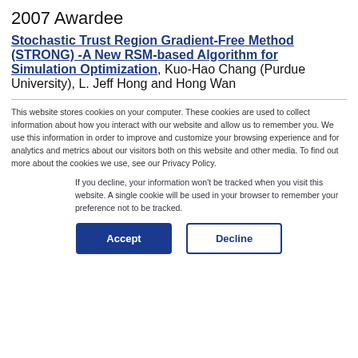2007 Awardee
Stochastic Trust Region Gradient-Free Method (STRONG) -A New RSM-based Algorithm for Simulation Optimization, Kuo-Hao Chang (Purdue University), L. Jeff Hong and Hong Wan
This website stores cookies on your computer. These cookies are used to collect information about how you interact with our website and allow us to remember you. We use this information in order to improve and customize your browsing experience and for analytics and metrics about our visitors both on this website and other media. To find out more about the cookies we use, see our Privacy Policy.
If you decline, your information won't be tracked when you visit this website. A single cookie will be used in your browser to remember your preference not to be tracked.